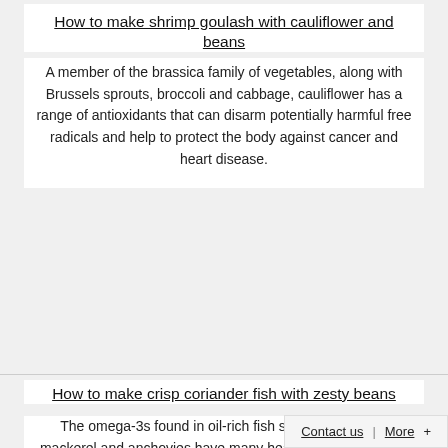How to make shrimp goulash with cauliflower and beans
A member of the brassica family of vegetables, along with Brussels sprouts, broccoli and cabbage, cauliflower has a range of antioxidants that can disarm potentially harmful free radicals and help to protect the body against cancer and heart disease.
[Figure (photo): Image placeholder for crisp coriander fish recipe]
How to make crisp coriander fish with zesty beans
The omega-3s found in oil-rich fish such as sardines, mackerel and anchovies have many health benefits beyond keeping the heart healthy. Evidence is emerging about their role in maintaining mental alertness and help... of dementi...
Contact us | More +